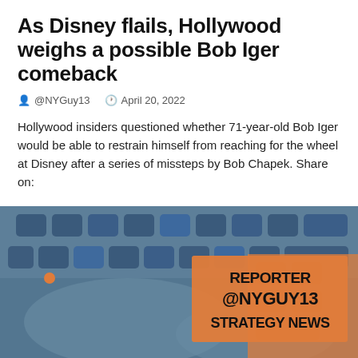As Disney flails, Hollywood weighs a possible Bob Iger comeback
@NYGuy13   April 20, 2022
Hollywood insiders questioned whether 71-year-old Bob Iger would be able to restrain himself from reaching for the wheel at Disney after a series of missteps by Bob Chapek. Share on:
READ MORE →
[Figure (photo): Blue-tinted photo of hands typing on a keyboard with an orange banner overlay reading REPORTER @NYGUY13 STRATEGY NEWS with an orange dot in the top-left]